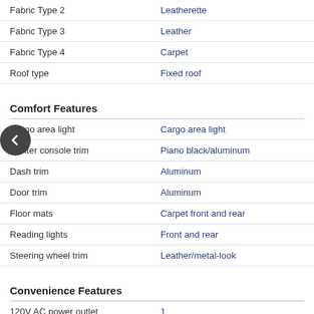| Feature | Value |
| --- | --- |
| Fabric Type 2 | Leatherette |
| Fabric Type 3 | Leather |
| Fabric Type 4 | Carpet |
| Roof type | Fixed roof |
Comfort Features
| Feature | Value |
| --- | --- |
| Cargo area light | Cargo area light |
| Center console trim | Piano black/aluminum |
| Dash trim | Aluminum |
| Door trim | Aluminum |
| Floor mats | Carpet front and rear |
| Reading lights | Front and rear |
| Steering wheel trim | Leather/metal-look |
Convenience Features
| Feature | Value |
| --- | --- |
| 120V AC power outlet | 1 |
| 12V DC power outlet | 4 |